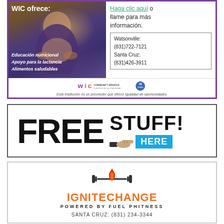[Figure (infographic): WIC advertisement in Spanish with photo of pregnant woman, text 'WIC ofrece:', services listed, phone numbers for Watsonville and Santa Cruz, Community Bridges logo, and equal opportunity statement.]
[Figure (infographic): Advertisement banner reading 'FREE STUFF! HERE' with pointing hand graphic and blue HERE box.]
[Figure (logo): IgniteChange logo with flame graphic, barbell icon, orange text 'IGNITECHANGE', subtext 'POWERED BY FUEL PHITNESS', and address below.]